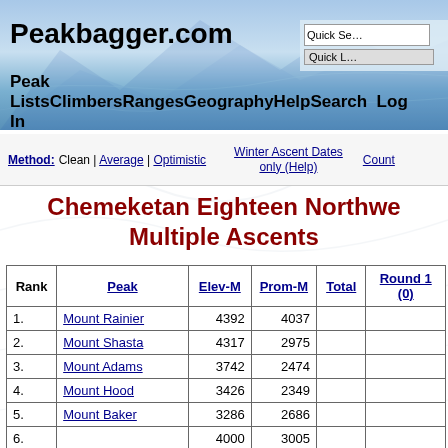Peakbagger.com — Peak Lists | Climbers | Ranges | Geography | Help | Search | Log In
Method: Clean | Average | Optimistic    Winter Ascent Dates only (Help)    Count
Chemeketan Eighteen Northwest Multiple Ascents
| Rank | Peak | Elev-M | Prom-M | Total | Round 1 (0) |
| --- | --- | --- | --- | --- | --- |
| 1. | Mount Rainier | 4392 | 4037 |  |  |
| 2. | Mount Shasta | 4317 | 2975 |  |  |
| 3. | Mount Adams | 3742 | 2474 |  |  |
| 4. | Mount Hood | 3426 | 2349 |  |  |
| 5. | Mount Baker | 3286 | 2686 |  |  |
| 6. |  | 4000 | 3005 |  |  |